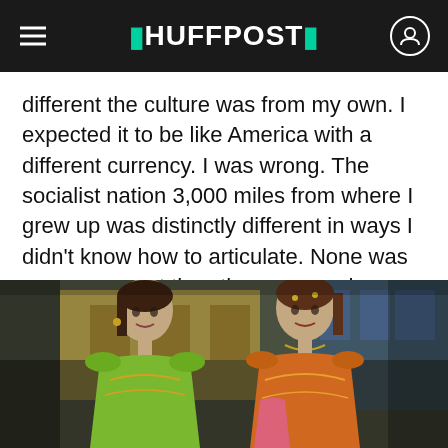HUFFPOST
different the culture was from my own. I expected it to be like America with a different currency. I was wrong. The socialist nation 3,000 miles from where I grew up was distinctly different in ways I didn't know how to articulate. None was more apparent than the ways each nation expressed multiculturalism.
[Figure (photo): Two female mannequins in colorful traditional South Asian clothing displayed in a shop window. The left mannequin wears a bright green embroidered outfit, the right wears orange. Background shows a traditional building facade and blue glass.]